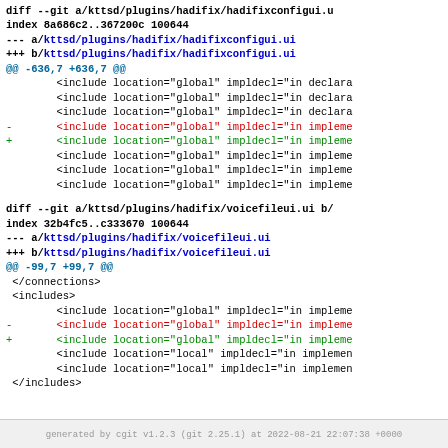diff --git a/kttsd/plugins/hadifix/hadifixconfigui.u
index 8a686c2..367200c 100644
--- a/kttsd/plugins/hadifix/hadifixconfigui.ui
+++ b/kttsd/plugins/hadifix/hadifixconfigui.ui
@@ -636,7 +636,7 @@
        <include location="global" impldecl="in declara
        <include location="global" impldecl="in declara
        <include location="global" impldecl="in declara
-       <include location="global" impldecl="in impleme
+       <include location="global" impldecl="in impleme
        <include location="global" impldecl="in impleme
        <include location="global" impldecl="in impleme
        <include location="global" impldecl="in impleme
diff --git a/kttsd/plugins/hadifix/voicefileui.ui b/
index 32b4fc5..c333670 100644
--- a/kttsd/plugins/hadifix/voicefileui.ui
+++ b/kttsd/plugins/hadifix/voicefileui.ui
@@ -99,7 +99,7 @@
 </connections>
 <includes>
        <include location="global" impldecl="in impleme
-       <include location="global" impldecl="in impleme
+       <include location="global" impldecl="in impleme
        <include location="local" impldecl="in implemen
        <include location="local" impldecl="in implemen
 </includes>
generated by cgit v1.2.3 (git 2.25.1) at 2022-08-21 22:07:38 +0000